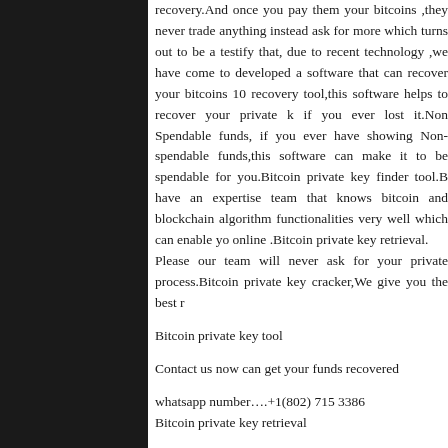recovery.And once you pay them your bitcoins ,they never trade anything instead ask for more which turns out to be a testify that, due to recent technology ,we have come to developed a software that can recover your bitcoins 100 recovery tool,this software helps to recover your private key if you ever lost it.Non Spendable funds, if you ever have showing Non-spendable funds,this software can make it to be spendable for you.Bitcoin private key finder tool.B have an expertise team that knows bitcoin and blockchain algorithm functionalities very well which can enable yo online .Bitcoin private key retrieval.
Please our team will never ask for your private process.Bitcoin private key cracker,We give you the best r
Bitcoin private key tool
Contact us now can get your funds recovered
whatsapp number….+1(802) 715 3386
Bitcoin private key retrieval
https://www.bitcoinprivatekeytool.com